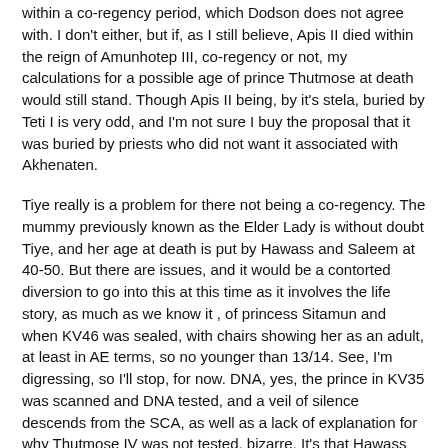within a co-regency period, which Dodson does not agree with. I don't either, but if, as I still believe, Apis II died within the reign of Amunhotep III, co-regency or not, my calculations for a possible age of prince Thutmose at death would still stand. Though Apis II being, by it's stela, buried by Teti I is very odd, and I'm not sure I buy the proposal that it was buried by priests who did not want it associated with Akhenaten.
Tiye really is a problem for there not being a co-regency. The mummy previously known as the Elder Lady is without doubt Tiye, and her age at death is put by Hawass and Saleem at 40-50. But there are issues, and it would be a contorted diversion to go into this at this time as it involves the life story, as much as we know it , of princess Sitamun and when KV46 was sealed, with chairs showing her as an adult, at least in AE terms, so no younger than 13/14. See, I'm digressing, so I'll stop, for now. DNA, yes, the prince in KV35 was scanned and DNA tested, and a veil of silence descends from the SCA, as well as a lack of explanation for why Thutmose IV was not tested, bizarre. It's that Hawass hiding secrets again....
Edited April 12, 2021 by Wepwawet